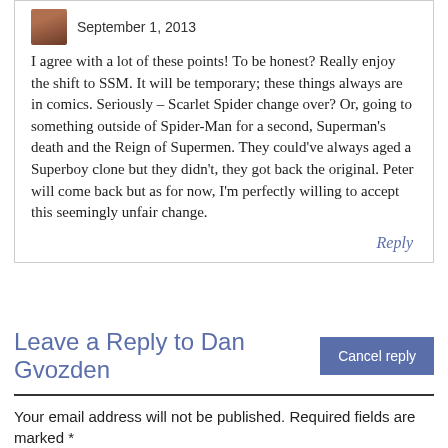September 1, 2013
I agree with a lot of these points! To be honest? Really enjoy the shift to SSM. It will be temporary; these things always are in comics. Seriously – Scarlet Spider change over? Or, going to something outside of Spider-Man for a second, Superman's death and the Reign of Supermen. They could've always aged a Superboy clone but they didn't, they got back the original. Peter will come back but as for now, I'm perfectly willing to accept this seemingly unfair change.
Reply
Leave a Reply to Dan Gvozden
Cancel reply
Your email address will not be published. Required fields are marked *